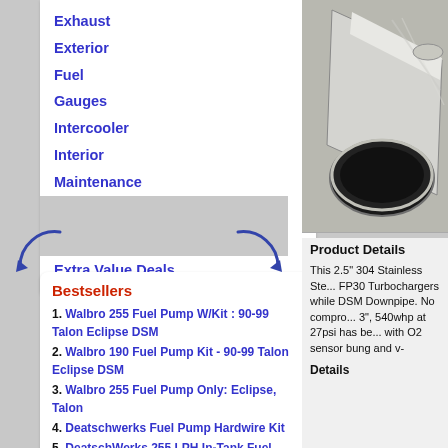Exhaust
Exterior
Fuel
Gauges
Intercooler
Interior
Maintenance
Suspension
Turbo
Extra Value Deals
Bestsellers
1. Walbro 255 Fuel Pump W/Kit : 90-99 Talon Eclipse DSM
2. Walbro 190 Fuel Pump Kit - 90-99 Talon Eclipse DSM
3. Walbro 255 Fuel Pump Only: Eclipse, Talon
4. Deatschwerks Fuel Pump Hardwire Kit
5. DeatschWerks 255 LPH In-Tank Fuel Pump w/Set up Kit -
[Figure (photo): Photo of a 2.5 inch 304 stainless steel exhaust downpipe for DSM vehicles, showing the end of the pipe at an angle against a grey background]
Product Details
This 2.5" 304 Stainless Ste... FP30 Turbochargers while DSM Downpipe. No compro... 3", 540whp at 27psi has be... with O2 sensor bung and v-
Details